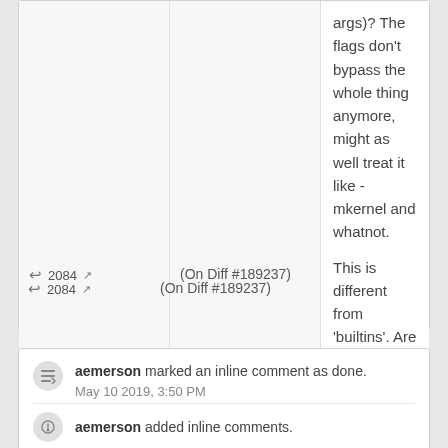args)? The flags don't bypass the whole thing anymore, might as well treat it like -mkernel and whatnot.
2084
(On Diff #189237)
This is different from 'builtins'. Are you OK with the difference? Otherwise maybe this should be an error for now; I wouldn't be surprised if we never hit this path (this part, I'm not familiar with)
aemerson marked an inline comment as done.
May 10 2019, 3:50 PM
aemerson added inline comments.